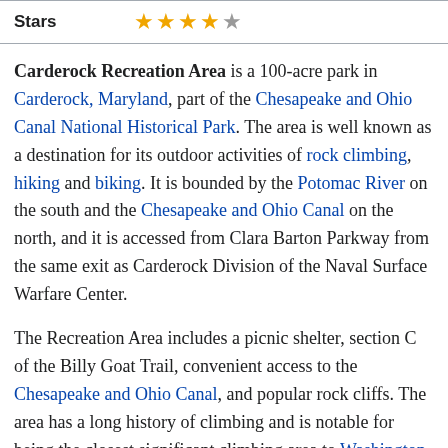| Stars | ★★★★☆ |
| --- | --- |
Carderock Recreation Area is a 100-acre park in Carderock, Maryland, part of the Chesapeake and Ohio Canal National Historical Park. The area is well known as a destination for its outdoor activities of rock climbing, hiking and biking. It is bounded by the Potomac River on the south and the Chesapeake and Ohio Canal on the north, and it is accessed from Clara Barton Parkway from the same exit as Carderock Division of the Naval Surface Warfare Center.
The Recreation Area includes a picnic shelter, section C of the Billy Goat Trail, convenient access to the Chesapeake and Ohio Canal, and popular rock cliffs. The area has a long history of climbing and is notable for being the closest significant climbing area to Washington, D.C.. As such, it is